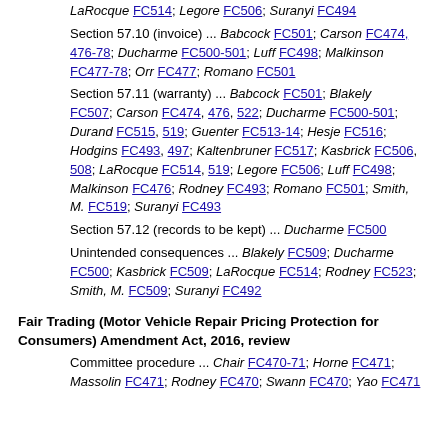LaRocque FC514; Legore FC506; Suranyi FC494
Section 57.10 (invoice) ... Babcock FC501; Carson FC474, 476-78; Ducharme FC500-501; Luff FC498; Malkinson FC477-78; Orr FC477; Romano FC501
Section 57.11 (warranty) ... Babcock FC501; Blakely FC507; Carson FC474, 476, 522; Ducharme FC500-501; Durand FC515, 519; Guenter FC513-14; Hesje FC516; Hodgins FC493, 497; Kaltenbruner FC517; Kasbrick FC506, 508; LaRocque FC514, 519; Legore FC506; Luff FC498; Malkinson FC476; Rodney FC493; Romano FC501; Smith, M. FC519; Suranyi FC493
Section 57.12 (records to be kept) ... Ducharme FC500
Unintended consequences ... Blakely FC509; Ducharme FC500; Kasbrick FC509; LaRocque FC514; Rodney FC523; Smith, M. FC509; Suranyi FC492
Fair Trading (Motor Vehicle Repair Pricing Protection for Consumers) Amendment Act, 2016, review
Committee procedure ... Chair FC470-71; Horne FC471; Massolin FC471; Rodney FC470; Swann FC470; Yao FC471